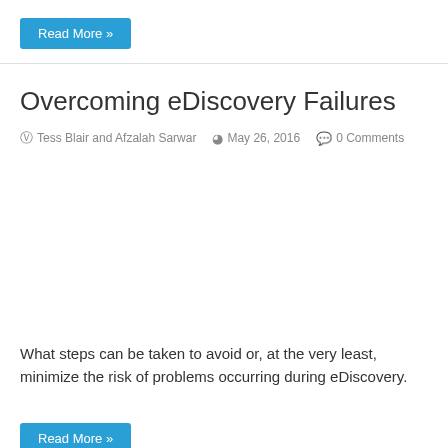Read More »
Overcoming eDiscovery Failures
Tess Blair and Afzalah Sarwar   May 26, 2016   0 Comments
What steps can be taken to avoid or, at the very least, minimize the risk of problems occurring during eDiscovery.
Read More »